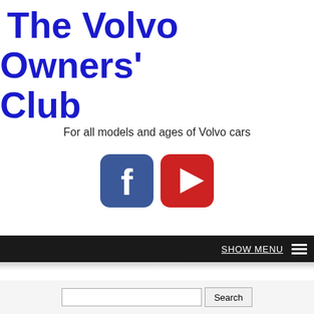The Volvo Owners' Club
For all models and ages of Volvo cars
[Figure (logo): Facebook logo icon (blue rounded square with white 'f') and YouTube logo icon (red rounded rectangle with white play triangle)]
SHOW MENU ☰